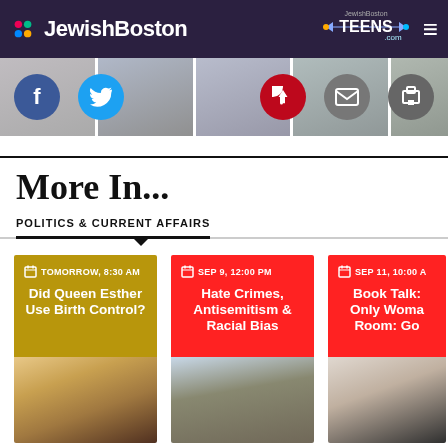JewishBoston | JewishBoston TEENS.com
[Figure (screenshot): Social media sharing icons bar: Facebook, Twitter, Pinterest, email, print — overlaid on profile photo thumbnails]
More In...
POLITICS & CURRENT AFFAIRS
TOMORROW, 8:30 AM — Did Queen Esther Use Birth Control?
SEP 9, 12:00 PM — Hate Crimes, Antisemitism & Racial Bias
SEP 11, 10:00 A — Book Talk: Only Woma... Room: Go...